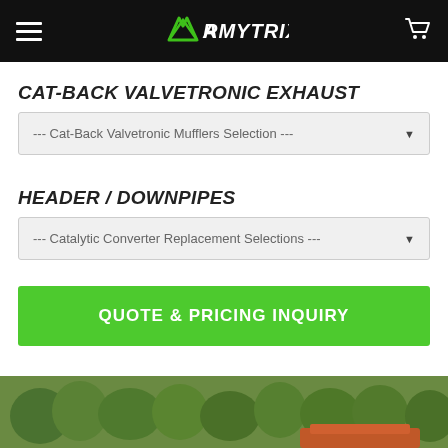ARMYTRIX
CAT-BACK VALVETRONIC EXHAUST
--- Cat-Back Valvetronic Mufflers Selection ---
HEADER / DOWNPIPES
--- Catalytic Converter Replacement Selections ---
QUOTE & PRICING INQUIRY
[Figure (photo): Outdoor photo showing trees and partial view of a vehicle or structure at the bottom of the page]